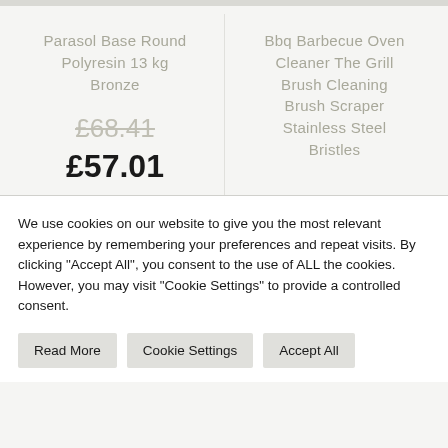Parasol Base Round Polyresin 13 kg Bronze
£68.41
£57.01
Bbq Barbecue Oven Cleaner The Grill Brush Cleaning Brush Scraper Stainless Steel Bristles
We use cookies on our website to give you the most relevant experience by remembering your preferences and repeat visits. By clicking "Accept All", you consent to the use of ALL the cookies. However, you may visit "Cookie Settings" to provide a controlled consent.
Read More
Cookie Settings
Accept All